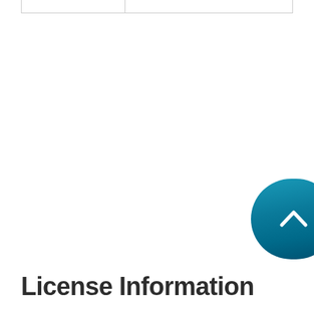|  |
[Figure (other): Back to top button — a rounded pill-shaped button with a teal-to-dark-blue gradient containing a white upward-pointing chevron arrow]
License Information